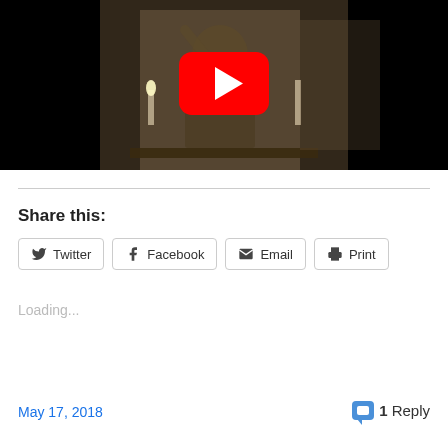[Figure (screenshot): YouTube video thumbnail showing an old sepia-toned illustration of a person at a piano/writing desk with a candle, overlaid with a red YouTube play button in the center, against a black background.]
Share this:
Twitter
Facebook
Email
Print
Loading...
May 17, 2018
1 Reply